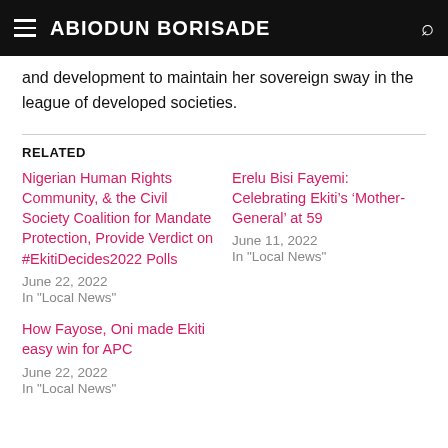ABIODUN BORISADE
and development to maintain her sovereign sway in the league of developed societies.
RELATED
Nigerian Human Rights Community, & the Civil Society Coalition for Mandate Protection, Provide Verdict on #EkitiDecides2022 Polls
June 22, 2022
In "Local News"
Erelu Bisi Fayemi: Celebrating Ekiti’s ‘Mother-General’ at 59
June 11, 2022
In "Local News"
How Fayose, Oni made Ekiti easy win for APC
June 22, 2022
In "Local News"